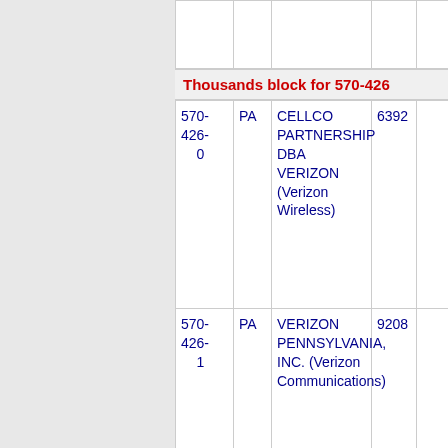Thousands block for 570-426
| Number | State | Company | Code |  |
| --- | --- | --- | --- | --- |
| 570-426-0 | PA | CELLCO PARTNERSHIP DBA VERIZON (Verizon Wireless) | 6392 |  |
| 570-426-1 | PA | VERIZON PENNSYLVANIA, INC. (Verizon Communications) | 9208 |  |